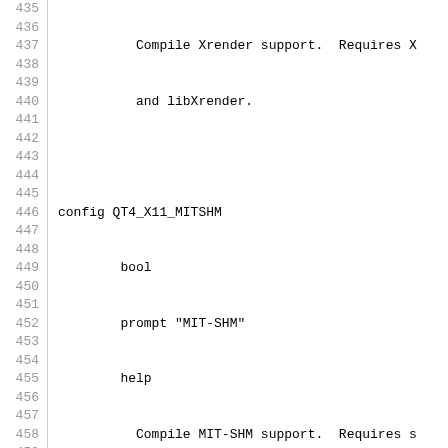Source code listing lines 435-464, showing Kconfig entries for QT4_X11_MITSHM, QT4_X11_FONTCONFIG, QT4_X11_XINPUT, and QT4_X11_XKB configurations